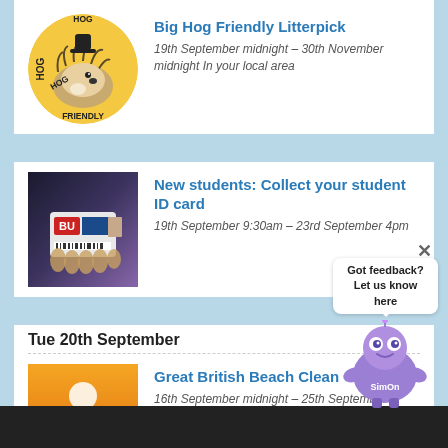[Figure (illustration): Hog Friendly circular badge with hedgehog illustration on yellow background]
Big Hog Friendly Litterpick
19th September midnight – 30th November midnight In your local area
[Figure (photo): Hand holding a BU student ID card]
New students: Collect your student ID card
19th September 9:30am – 23rd September 4pm
Tue 20th September
[Figure (illustration): Great British Beach Clean event thumbnail with orange background and anchor/beach icons]
Great British Beach Clean
16th September midnight – 25th September midnight Bournemouth beach
[Figure (illustration): SimOn feedback mascot robot in purple with speech bubble saying Got feedback? Let us know here]